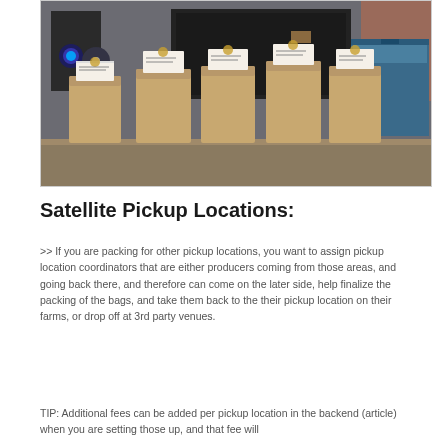[Figure (photo): Photo of several labeled brown paper bags sitting in a row on a wooden surface, with equipment in the background including speakers and a blue cooler.]
Satellite Pickup Locations:
>> If you are packing for other pickup locations, you want to assign pickup location coordinators that are either producers coming from those areas, and going back there, and therefore can come on the later side, help finalize the packing of the bags, and take them back to the their pickup location on their farms, or drop off at 3rd party venues.
TIP: Additional fees can be added per pickup location in the backend (article) when you are setting those up, and that fee will